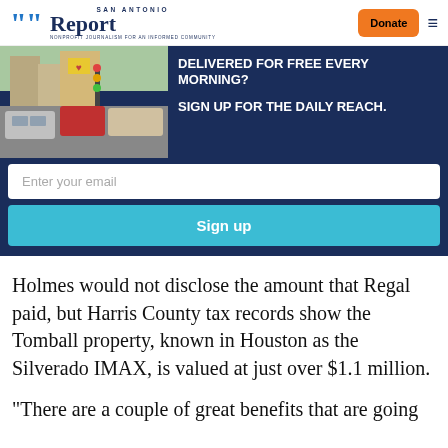San Antonio Report | Donate
[Figure (screenshot): Newsletter signup banner with street photo and text: DELIVERED FOR FREE EVERY MORNING? SIGN UP FOR THE DAILY REACH. Email input field and Sign up button on dark navy background.]
Holmes would not disclose the amount that Regal paid, but Harris County tax records show the Tomball property, known in Houston as the Silverado IMAX, is valued at just over $1.1 million.
“There are a couple of great benefits that are going